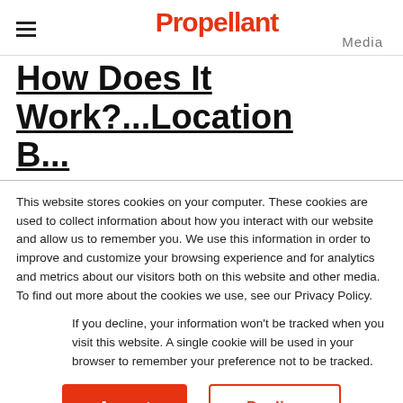Propellant Media
How Does It Work?...Location B...
This website stores cookies on your computer. These cookies are used to collect information about how you interact with our website and allow us to remember you. We use this information in order to improve and customize your browsing experience and for analytics and metrics about our visitors both on this website and other media. To find out more about the cookies we use, see our Privacy Policy.
If you decline, your information won't be tracked when you visit this website. A single cookie will be used in your browser to remember your preference not to be tracked.
Accept   Decline